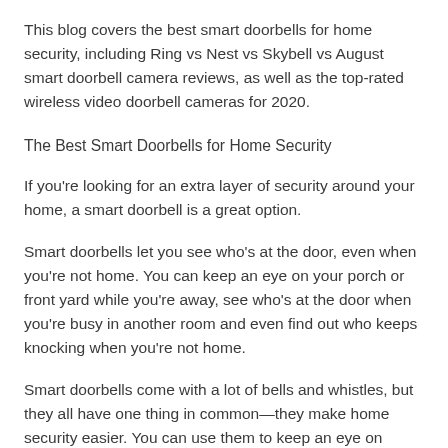This blog covers the best smart doorbells for home security, including Ring vs Nest vs Skybell vs August smart doorbell camera reviews, as well as the top-rated wireless video doorbell cameras for 2020.
The Best Smart Doorbells for Home Security
If you're looking for an extra layer of security around your home, a smart doorbell is a great option.
Smart doorbells let you see who's at the door, even when you're not home. You can keep an eye on your porch or front yard while you're away, see who's at the door when you're busy in another room and even find out who keeps knocking when you're not home.
Smart doorbells come with a lot of bells and whistles, but they all have one thing in common—they make home security easier. You can use them to keep an eye on deliveries and package...